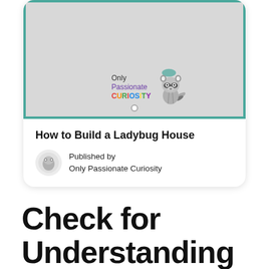[Figure (illustration): A card with a light gray background and teal border showing the Only Passionate Curiosity logo with a raccoon illustration]
How to Build a Ladybug House
Published by
Only Passionate Curiosity
Check for Understanding